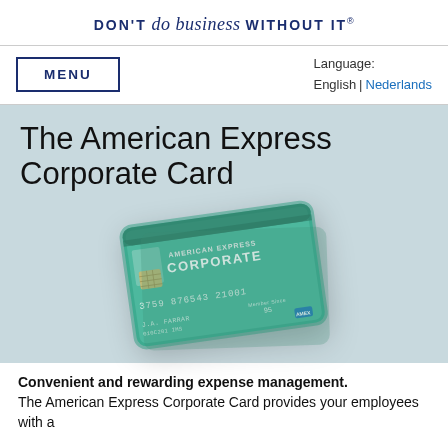DON'T do business WITHOUT IT®
MENU
Language: English | Nederlands
The American Express Corporate Card
[Figure (photo): American Express Corporate Card (green card) with chip, card number 3759 876543 21001, tilted at an angle on a light blue-grey background]
Convenient and rewarding expense management. The American Express Corporate Card provides your employees with a